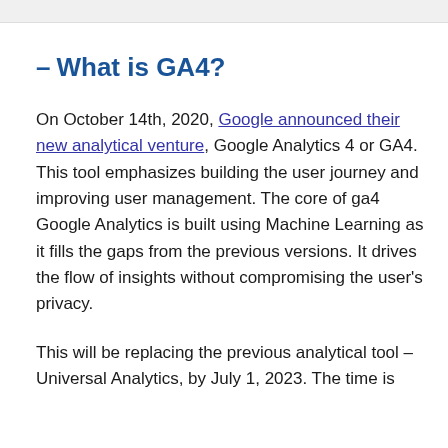- What is GA4?
On October 14th, 2020, Google announced their new analytical venture, Google Analytics 4 or GA4. This tool emphasizes building the user journey and improving user management. The core of ga4 Google Analytics is built using Machine Learning as it fills the gaps from the previous versions. It drives the flow of insights without compromising the user's privacy.
This will be replacing the previous analytical tool – Universal Analytics, by July 1, 2023. The time is